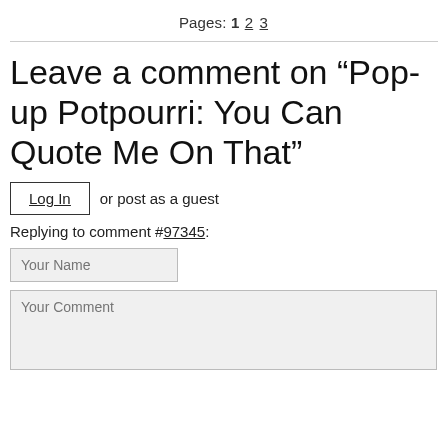Pages: 1 2 3
Leave a comment on “Pop-up Potpourri: You Can Quote Me On That”
Log In or post as a guest
Replying to comment #97345:
Your Name
Your Comment